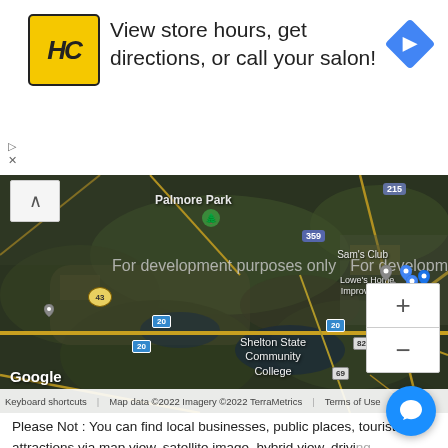[Figure (screenshot): Advertisement banner for Hair Club showing logo (HC in yellow circle), text 'View store hours, get directions, or call your salon!', and a blue navigation arrow icon]
[Figure (map): Google Maps satellite view of Tuscaloosa, Alabama area showing Palmore Park, Shelton State Community College, Sam's Club, roads including highway 20, 215, 359, 82, 69. Map shows 'For development purposes only' watermark text. Map data ©2022 Imagery ©2022 TerraMetrics.]
Please Not : You can find local businesses, public places, tourist attractions via map view, satellite image, hybrid view, driving directions in Tuscaloosa Alabama Map. You'll also find a variety map of Tuscaloosa Alabama such as political, administrative,